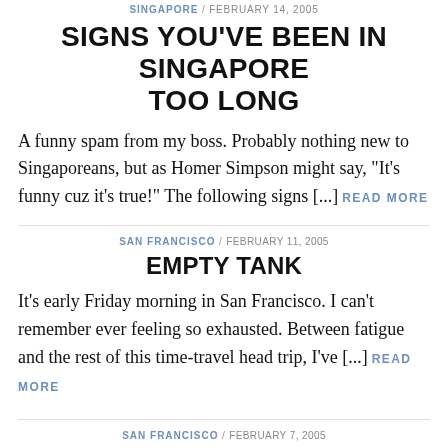SINGAPORE / FEBRUARY 14, 2005
SIGNS YOU'VE BEEN IN SINGAPORE TOO LONG
A funny spam from my boss. Probably nothing new to Singaporeans, but as Homer Simpson might say, "It's funny cuz it's true!" The following signs [...] READ MORE
SAN FRANCISCO / FEBRUARY 11, 2005
EMPTY TANK
It's early Friday morning in San Francisco. I can't remember ever feeling so exhausted. Between fatigue and the rest of this time-travel head trip, I've [...] READ MORE
SAN FRANCISCO / FEBRUARY 7, 2005